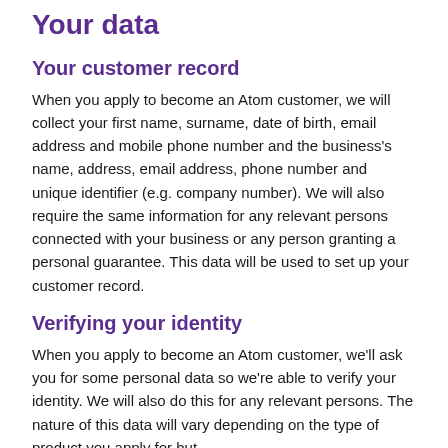Your data
Your customer record
When you apply to become an Atom customer, we will collect your first name, surname, date of birth, email address and mobile phone number and the business's name, address, email address, phone number and unique identifier (e.g. company number). We will also require the same information for any relevant persons connected with your business or any person granting a personal guarantee. This data will be used to set up your customer record.
Verifying your identity
When you apply to become an Atom customer, we'll ask you for some personal data so we're able to verify your identity. We will also do this for any relevant persons. The nature of this data will vary depending on the type of product you apply for but